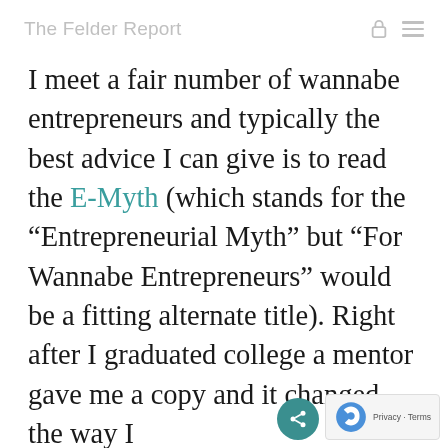The Felder Report
I meet a fair number of wannabe entrepreneurs and typically the best advice I can give is to read the E-Myth (which stands for the “Entrepreneurial Myth” but “For Wannabe Entrepreneurs” would be a fitting alternate title). Right after I graduated college a mentor gave me a copy and it changed the way I